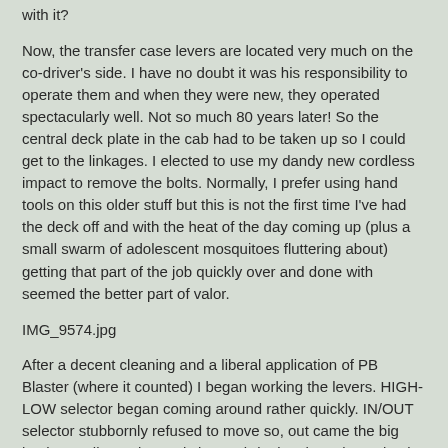with it?
Now, the transfer case levers are located very much on the co-driver's side. I have no doubt it was his responsibility to operate them and when they were new, they operated spectacularly well. Not so much 80 years later! So the central deck plate in the cab had to be taken up so I could get to the linkages. I elected to use my dandy new cordless impact to remove the bolts. Normally, I prefer using hand tools on this older stuff but this is not the first time I've had the deck off and with the heat of the day coming up (plus a small swarm of adolescent mosquitoes fluttering about) getting that part of the job quickly over and done with seemed the better part of valor.
IMG_9574.jpg
After a decent cleaning and a liberal application of PB Blaster (where it counted) I began working the levers. HIGH-LOW selector began coming around rather quickly. IN/OUT selector stubbornly refused to move so, out came the big leather mallet and I gently began bringing the selector back and forth. Didn't take long and the thing began to move very reluctantly and not in it's full range of motion. I believe that is a result of the guts of the transfer case being in exactly the wrong position.
So, I'm not forcing anything. I have plenty of time before I have to get the front axle of the half track down off its stands in order to put the thing in